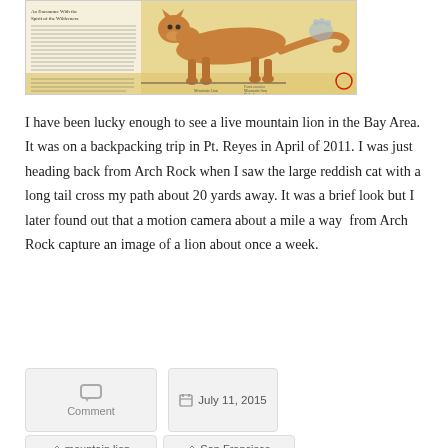[Figure (illustration): A hand-drawn illustration of a mountain lion (puma/cougar) with handwritten text labels and annotations, shown in profile walking to the right. Includes a paw print drawing and handwritten notes. Background is yellowish/tan.]
I have been lucky enough to see a live mountain lion in the Bay Area. It was on a backpacking trip in Pt. Reyes in April of 2011. I was just heading back from Arch Rock when I saw the large reddish cat with a long tail cross my path about 20 yards away. It was a brief look but I later found out that a motion camera about a mile a way from Arch Rock capture an image of a lion about once a week.
Comment
July 11, 2015
mountain lion
San Francisco